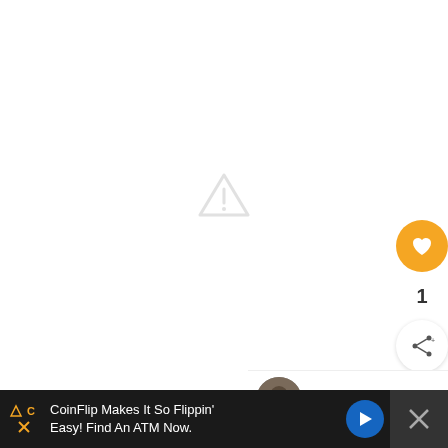[Figure (other): Broken/missing image placeholder: a grey warning triangle with exclamation mark centered in white area]
[Figure (other): Golden heart button UI element with like count '1' and share button below]
WHAT'S NEXT → Retail Therapy for Winter...
CoinFlip Makes It So Flippin' Easy! Find An ATM Now.